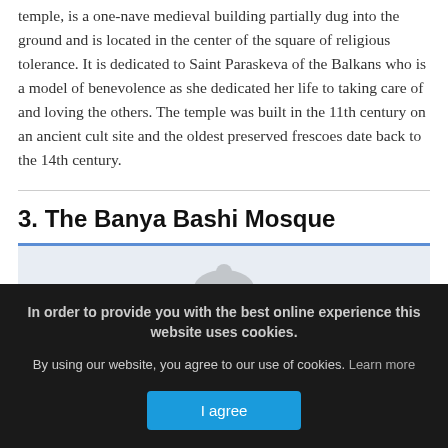temple, is a one-nave medieval building partially dug into the ground and is located in the center of the square of religious tolerance. It is dedicated to Saint Paraskeva of the Balkans who is a model of benevolence as she dedicated her life to taking care of and loving the others. The temple was built in the 11th century on an ancient cult site and the oldest preserved frescoes date back to the 14th century.
3. The Banya Bashi Mosque
[Figure (photo): Partially visible photograph of the Banya Bashi Mosque, obscured by cookie consent overlay]
In order to provide you with the best online experience this website uses cookies.

By using our website, you agree to our use of cookies. Learn more